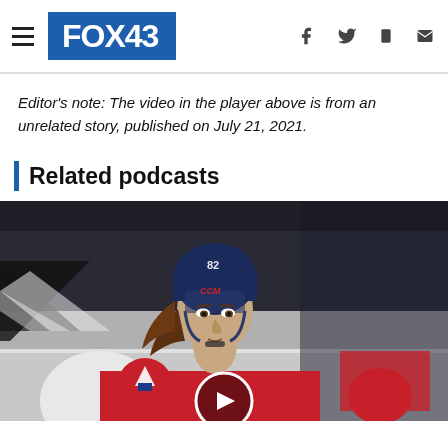FOX43
Editor's note: The video in the player above is from an unrelated story, published on July 21, 2021.
Related podcasts
[Figure (photo): Hockey player wearing number 82 jersey in red Washington Capitals uniform and dark blue CCM helmet, with a play button overlay at the bottom center.]